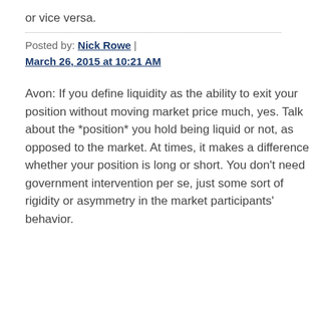or vice versa.
Posted by: Nick Rowe | March 26, 2015 at 10:21 AM
Avon: If you define liquidity as the ability to exit your position without moving market price much, yes. Talk about the *position* you hold being liquid or not, as opposed to the market. At times, it makes a difference whether your position is long or short. You don't need government intervention per se, just some sort of rigidity or asymmetry in the market participants' behavior.